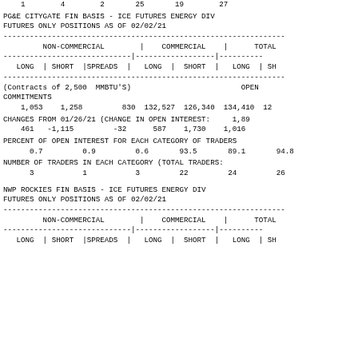1        4        2       25       19        27
PG&E CITYGATE FIN BASIS - ICE FUTURES ENERGY DIV
FUTURES ONLY POSITIONS AS OF 02/02/21
| NON-COMMERCIAL | COMMERCIAL | TOTAL |
| --- | --- | --- |
| LONG | SHORT |SPREADS | | LONG | SHORT | | LONG | SH |
| (Contracts of 2,500  MMBTU'S) |  | OPEN COMMITMENTS |
| 1,053    1,258         830 | 132,527  126,340 | 134,410  12 |
| CHANGES FROM 01/26/21 (CHANGE IN OPEN INTEREST:   1,89 |
| 461   -1,115         -32 | 587    1,730 | 1,016 |
| PERCENT OF OPEN INTEREST FOR EACH CATEGORY OF TRADERS |
| 0.7         0.9         0.6 | 93.5       89.1 | 94.8 |
| NUMBER OF TRADERS IN EACH CATEGORY (TOTAL TRADERS: |
| 3           1           3 | 22         24 | 26 |
NWP ROCKIES FIN BASIS - ICE FUTURES ENERGY DIV
FUTURES ONLY POSITIONS AS OF 02/02/21
| NON-COMMERCIAL | COMMERCIAL | TOTAL |
| --- | --- | --- |
| LONG | SHORT |SPREADS | | LONG | SHORT | | LONG | SH |